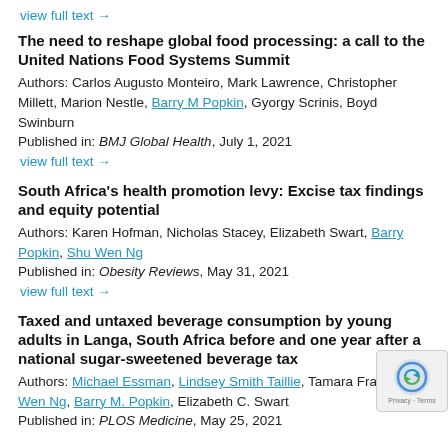view full text →
The need to reshape global food processing: a call to the United Nations Food Systems Summit
Authors: Carlos Augusto Monteiro, Mark Lawrence, Christopher Millett, Marion Nestle, Barry M Popkin, Gyorgy Scrinis, Boyd Swinburn
Published in: BMJ Global Health, July 1, 2021
view full text →
South Africa's health promotion levy: Excise tax findings and equity potential
Authors: Karen Hofman, Nicholas Stacey, Elizabeth Swart, Barry Popkin, Shu Wen Ng
Published in: Obesity Reviews, May 31, 2021
view full text →
Taxed and untaxed beverage consumption by young adults in Langa, South Africa before and one year after a national sugar-sweetened beverage tax
Authors: Michael Essman, Lindsey Smith Taillie, Tamara Frank, Shu Wen Ng, Barry M. Popkin, Elizabeth C. Swart
Published in: PLOS Medicine, May 25, 2021